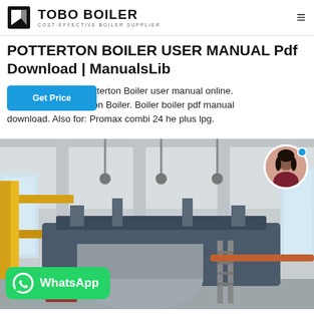TOBO BOILER — COST-EFFECTIVE BOILER SUPPLIER
POTTERTON BOILER USER MANUAL Pdf Download | ManualsLib
Download Potterton Boiler user manual online. Combination Boiler. Boiler boiler pdf manual download. Also for: Promax combi 24 he plus lpg.
[Figure (photo): Industrial boiler room with large boiler equipment, yellow frame structure, piping, and a ladder inside a factory building. A WhatsApp button overlay and a customer service avatar overlay are present.]